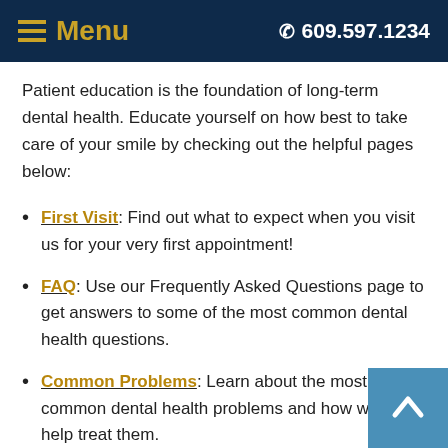≡ Menu   ✆ 609.597.1234
Patient education is the foundation of long-term dental health. Educate yourself on how best to take care of your smile by checking out the helpful pages below:
First Visit: Find out what to expect when you visit us for your very first appointment!
FAQ: Use our Frequently Asked Questions page to get answers to some of the most common dental health questions.
Common Problems: Learn about the most common dental health problems and how we can help treat them.